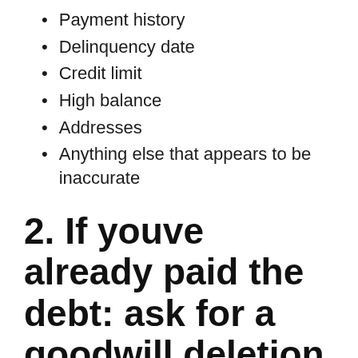Payment history
Delinquency date
Credit limit
High balance
Addresses
Anything else that appears to be inaccurate
2. If youve already paid the debt: ask for a goodwill deletion
To remove a paid collection from your credit report, you can send your creditor or debt collector a goodwill deletion letter. This is a letter where you ask a creditor or debt